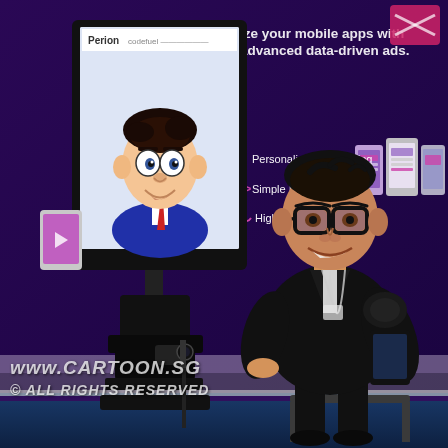[Figure (photo): Photo of a man sitting on a chair at a trade show booth, smiling and looking at a large monitor on a stand showing an animated cartoon caricature of himself. The booth belongs to Perion/Codefuel and displays a purple banner advertising mobile app monetization with advanced data-driven ads, featuring bullet points: Personalized Advertising, Simple Integration, Higher Revenues. Three smartphone mockups are visible on the right side of the banner. The man wears a black suit jacket with glasses and a conference lanyard. The monitor stand/kiosk has a camera setup pointed at the man. The floor is blue carpet.]
www.cartoon.sg
© ALL RIGHTS RESERVED